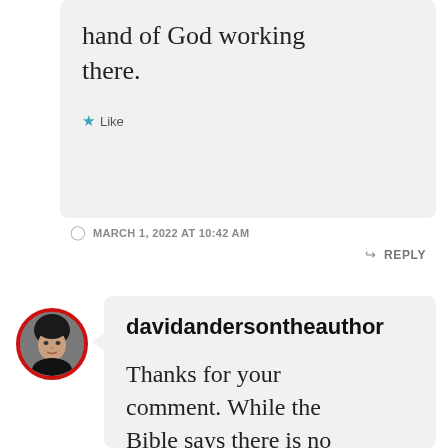hand of God working there.
Like
MARCH 1, 2022 AT 10:42 AM
REPLY
[Figure (photo): Circular avatar photo of a man with dark hair, bordered in red]
davidandersontheauthor
Thanks for your comment. While the Bible says there is no authority except from